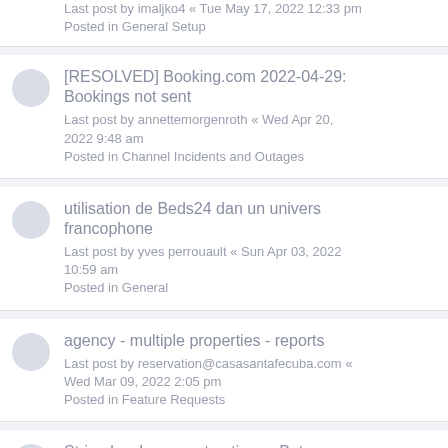Price check tool - difficult to use
Last post by imaljko4 « Tue May 17, 2022 12:33 pm
Posted in General Setup
[RESOLVED] Booking.com 2022-04-29: Bookings not sent
Last post by annettemorgenroth « Wed Apr 20, 2022 9:48 am
Posted in Channel Incidents and Outages
utilisation de Beds24 dan un univers francophone
Last post by yves perrouault « Sun Apr 03, 2022 10:59 am
Posted in General
agency - multiple properties - reports
Last post by reservation@casasantafecuba.com « Wed Mar 09, 2022 2:05 pm
Posted in Feature Requests
Stripe local payment options - Beta testers wanted
Last post by annettemorgenroth « Wed Feb 09, 2022 6:47 am